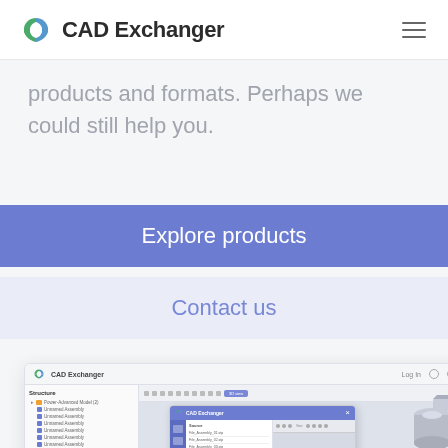CAD Exchanger
products and formats. Perhaps we could still help you.
Explore products
Contact us
[Figure (screenshot): CAD Exchanger web application screenshot showing a 3D model viewer with a structure tree panel on the left listing Unnamed Assemblies, a selected item highlighted in blue labeled 'B-Finte', a 3D viewport displaying CAD models including a circular/flange part and a small cylindrical part, with an overlaid dialog window showing a file structure panel with blue sidebar buttons and a 3D part rendered in a side panel.]